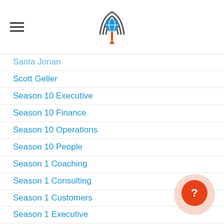Navigation header with hamburger menu and logo
Santa Jonan
Scott Geller
Season 10 Executive
Season 10 Finance
Season 10 Operations
Season 10 People
Season 1 Coaching
Season 1 Consulting
Season 1 Customers
Season 1 Executive
Season 1 Finance
Season 1 Operations
Season 1 People
Season 1 Strategy
Season 2 Customers
Season 2 Executive
Season 2 Finance
Season 2 Operations